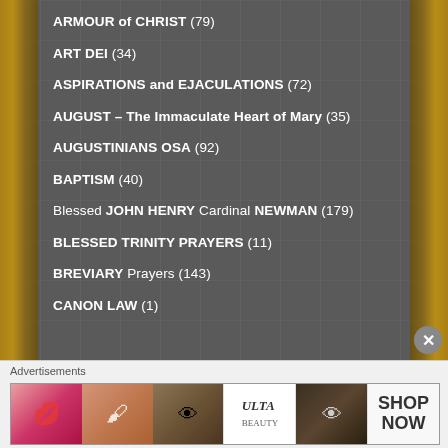ARMOUR of CHRIST (79)
ART DEI (34)
ASPIRATIONS and EJACULATIONS (72)
AUGUST – The Immaculate Heart of Mary (35)
AUGUSTINIANS OSA (92)
BAPTISM (40)
Blessed JOHN HENRY Cardinal NEWMAN (179)
BLESSED TRINITY PRAYERS (11)
BREVIARY Prayers (143)
CANON LAW (1)
[Figure (photo): Advertisement banner showing beauty/makeup products with ULTA logo and SHOP NOW call to action]